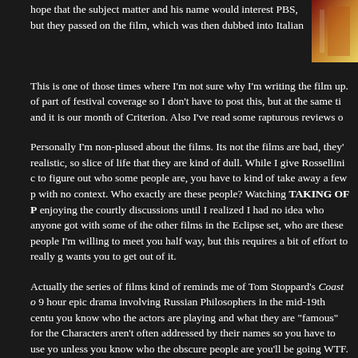hope that the subject matter and his name would interest PBS, but they passed on the film, which was then dubbed into Italian
[Figure (photo): Partial image of what appears to be a book or DVD cover in red, gold and orange tones, visible in the top right corner]
This is one of those times where I'm not sure why I'm writing the film up. of part of festival coverage so I don't have to post this, but at the same ti and it is our month of Criterion. Also I've read some rapturous reviews o
Personally I'm non-plused about the films. Its not the films are bad, they' realistic, so slice of life that they are kind of dull. While I give Rossellini c to figure out who some people are, you have to kind of take away a few p with no context. Who exactly are these people? Watching TAKING OF P enjoying the courtly discussions until I realized I had no idea who anyone got with some of the other films in the Eclipse set, who are these people I'm willing to meet you half way, but this requires a bit of effort to really g wants you to get out of it.
Actually the series of films kind of reminds me of Tom Stoppard's Coast o 9 hour epic drama involving Russian Philosophers in the mid-19th centu you know who the actors are playing and what they are "famous" for the Characters aren't often addressed by their names so you have to use yo unless you know who the obscure people are you'll be going WTF. It's a around an Russian country house for 9 hours talking about petty stuff jus enraptured, the audiences were confused. I was annoyed